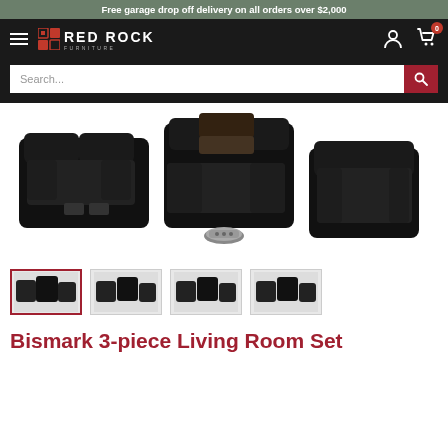Free garage drop off delivery on all orders over $2,000
[Figure (logo): Red Rock Furniture logo with hamburger menu, user icon, and cart icon with badge 0]
[Figure (screenshot): Search bar with placeholder text 'Search...' and red search button]
[Figure (photo): Black leather recliner sofa set (loveseat, sofa with console, and recliner chair) with remote control]
[Figure (photo): Four thumbnail images of the Bismark 3-piece living room set from different angles]
Bismark 3-piece Living Room Set